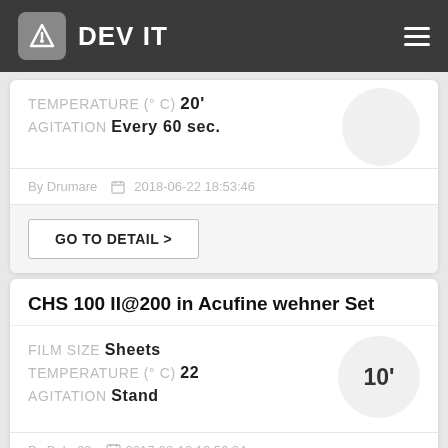DEV IT
TEMPERATURE (° C) 20'
AGITATION Every 60 sec.
By Drumare   2018-06-22 18:53:46
GO TO DETAIL >
CHS 100 II@200 in Acufine wehner Set
FILM SIZE Sheets
TEMPERATURE (° C) 22
AGITATION Stand
By Bebe00   2017-08-12 13:56:24